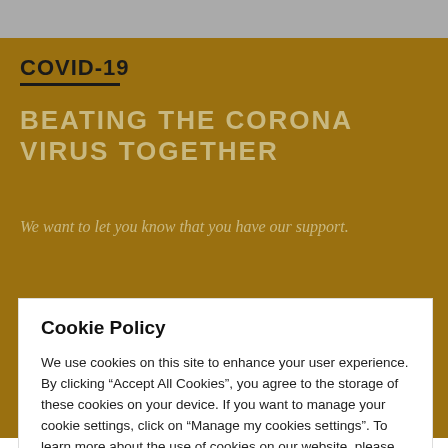COVID-19
BEATING THE CORONA VIRUS TOGETHER
We want to let you know that you have our support.
Action plan for retail customers
Cookie Policy
We use cookies on this site to enhance your user experience. By clicking “Accept All Cookies”, you agree to the storage of these cookies on your device. If you want to manage your cookie settings, click on “Manage my cookies settings”. To learn more about the use of cookies on our website, please read our cookie statement.